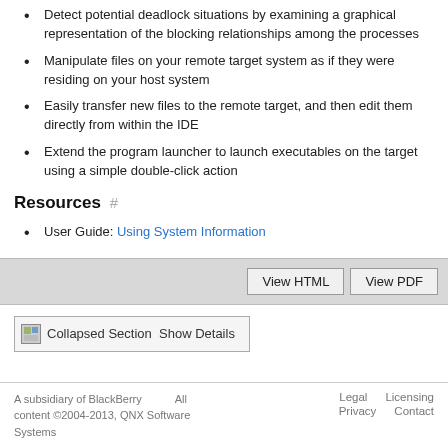Detect potential deadlock situations by examining a graphical representation of the blocking relationships among the processes
Manipulate files on your remote target system as if they were residing on your host system
Easily transfer new files to the remote target, and then edit them directly from within the IDE
Extend the program launcher to launch executables on the target using a simple double-click action
Resources #
User Guide: Using System Information
View HTML   View PDF
Collapsed Section   Show Details
A subsidiary of BlackBerry All content ©2004-2013, QNX Software Systems    Legal   Licensing   Privacy   Contact